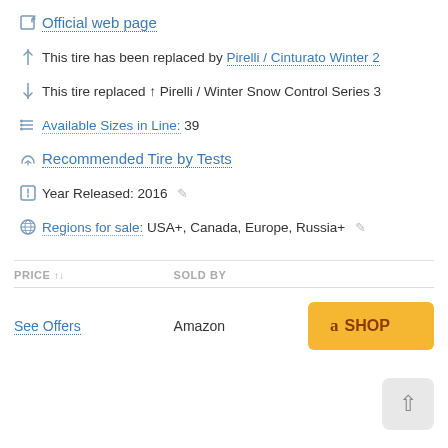Official web page
This tire has been replaced by Pirelli / Cinturato Winter 2
This tire replaced ↑ Pirelli / Winter Snow Control Series 3
Available Sizes in Line: 39
Recommended Tire by Tests
Year Released: 2016
Regions for sale: USA+, Canada, Europe, Russia+
| PRICE | SOLD BY |  |
| --- | --- | --- |
| See Offers | Amazon | SHOP |